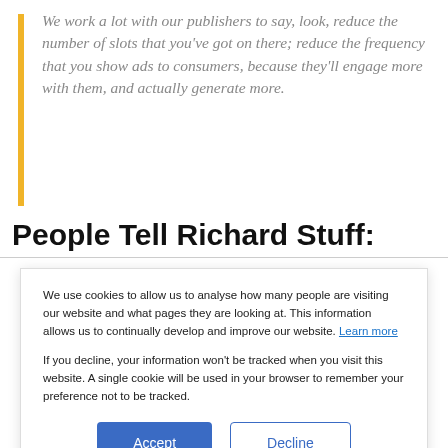We work a lot with our publishers to say, look, reduce the number of slots that you've got on there; reduce the frequency that you show ads to consumers, because they'll engage more with them, and actually generate more.
People Tell Richard Stuff:
We use cookies to allow us to analyse how many people are visiting our website and what pages they are looking at. This information allows us to continually develop and improve our website. Learn more
If you decline, your information won't be tracked when you visit this website. A single cookie will be used in your browser to remember your preference not to be tracked.